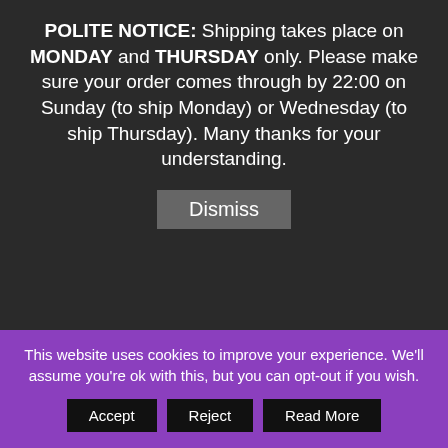POLITE NOTICE: Shipping takes place on MONDAY and THURSDAY only. Please make sure your order comes through by 22:00 on Sunday (to ship Monday) or Wednesday (to ship Thursday). Many thanks for your understanding.
Dismiss
"Spring Break" Stamping Polish – Ice Coffee
£5.50  £4.99
Esmaltes da Kelly Doguito Nude Rose Stamping Polish
£6.50  £5.99
This website uses cookies to improve your experience. We'll assume you're ok with this, but you can opt-out if you wish.
Accept
Reject
Read More